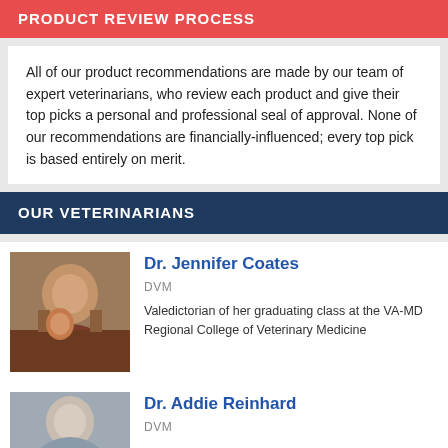PRODUCT REVIEW PROCESS
All of our product recommendations are made by our team of expert veterinarians, who review each product and give their top picks a personal and professional seal of approval. None of our recommendations are financially-influenced; every top pick is based entirely on merit.
OUR VETERINARIANS
[Figure (photo): Photo of Dr. Jennifer Coates with a dog]
Dr. Jennifer Coates
DVM
Valedictorian of her graduating class at the VA-MD Regional College of Veterinary Medicine
[Figure (photo): Photo of Dr. Addie Reinhard]
Dr. Addie Reinhard
DVM